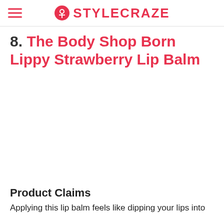STYLECRAZE
8. The Body Shop Born Lippy Strawberry Lip Balm
[Figure (photo): Product image area for The Body Shop Born Lippy Strawberry Lip Balm (image not visible)]
Product Claims
Applying this lip balm feels like dipping your lips into